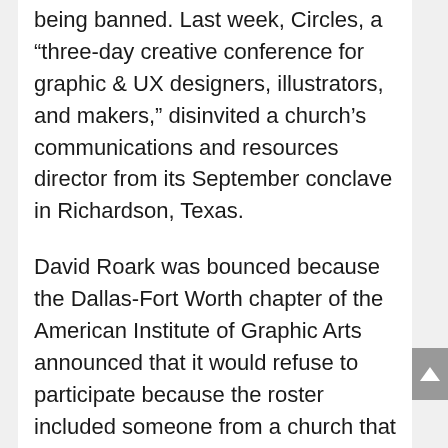being banned. Last week, Circles, a “three-day creative conference for graphic & UX designers, illustrators, and makers,” disinvited a church’s communications and resources director from its September conclave in Richardson, Texas.
David Roark was bounced because the Dallas-Fort Worth chapter of the American Institute of Graphic Arts announced that it would refuse to participate because the roster included someone from a church that “does not meet our standards of inclusion because